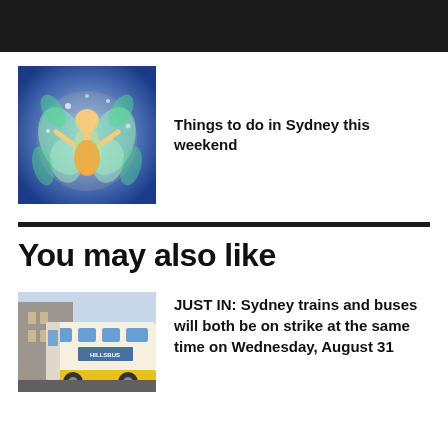[Figure (photo): Colorful glowing fairy performer with wings on a blue-lit stage]
Things to do in Sydney this weekend
[Figure (photo): Yellow and white bus on a city street]
You may also like
JUST IN: Sydney trains and buses will both be on strike at the same time on Wednesday, August 31